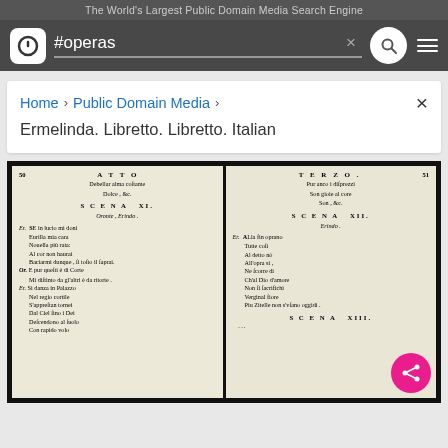The World's Largest Public Domain Media Search Engine
#operas
Home > Public Domain Media >
Ermelinda. Libretto. Libretto. Italian
[Figure (photo): Scanned pages of an old Italian libretto showing ATTO TERZO, SCENA XI and SCENA XII with Italian verse text]